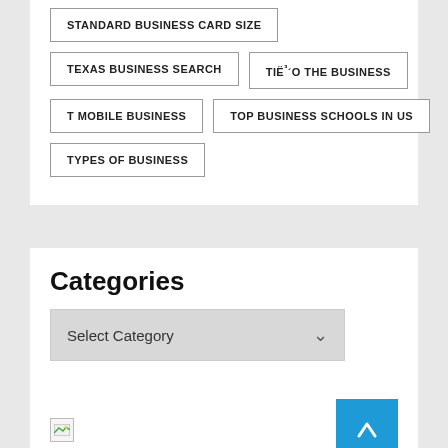STANDARD BUSINESS CARD SIZE
TEXAS BUSINESS SEARCH
TIËÉ³´O THE BUSINESS
T MOBILE BUSINESS
TOP BUSINESS SCHOOLS IN US
TYPES OF BUSINESS
Categories
Select Category
[Figure (other): Broken image placeholder and blue scroll-to-top button with upward arrow]